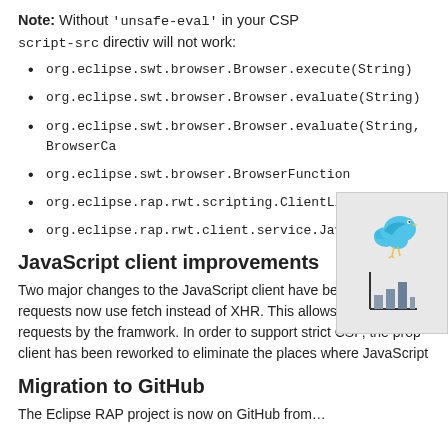Note: Without 'unsafe-eval' in your CSP script-src directive will not work:
org.eclipse.swt.browser.Browser.execute(String)
org.eclipse.swt.browser.Browser.evaluate(String)
org.eclipse.swt.browser.Browser.evaluate(String, BrowserCal…
org.eclipse.swt.browser.BrowserFunction
org.eclipse.rap.rwt.scripting.ClientListener
org.eclipse.rap.rwt.client.service.JavaScriptExecutor
[Figure (illustration): A widget box showing a blue Twitter bird icon and a bar chart icon on a light gray background]
JavaScript client improvements
Two major changes to the JavaScript client have been introduced. requests now use fetch instead of XHR. This allows us to intercept requests by the framwork. In order to support strict CSP, the prop client has been reworked to eliminate the places where JavaScript
Migration to GitHub
The Eclipse RAP project is now on GitHub from…